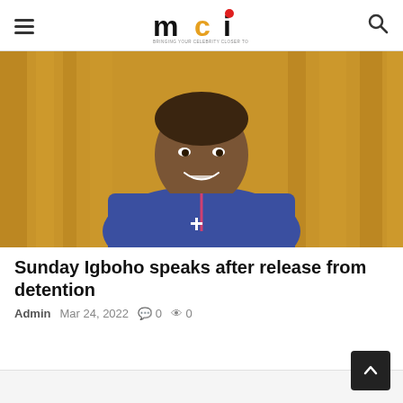mci — BRINGING YOUR CELEBRITY CLOSER TO YOU
[Figure (photo): Photo of Sunday Igboho, a man wearing a blue traditional outfit with a cross emblem on the chest, smiling, with a golden curtain background]
Sunday Igboho speaks after release from detention
Admin  Mar 24, 2022  🗨 0  👁 0